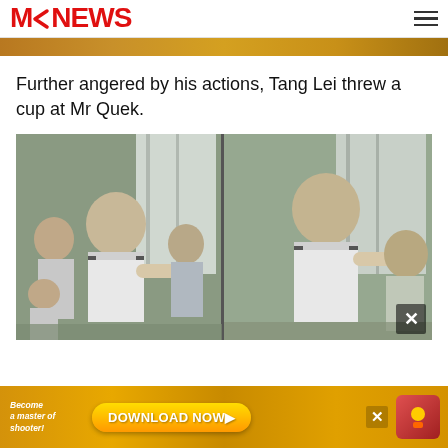MNNews
[Figure (photo): Partial top image strip showing colorful background, cropped]
Further angered by his actions, Tang Lei threw a cup at Mr Quek.
[Figure (photo): Two side-by-side video stills showing people in white shirts in a physical altercation indoors]
[Figure (other): Advertisement banner: Become a master of shooter! DOWNLOAD NOW with app icon and close button]